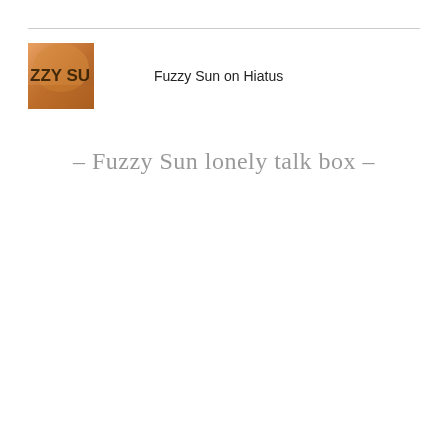[Figure (logo): Fuzzy Sun logo image showing partial text 'ZZY SU' on an orange/warm toned background]
Fuzzy Sun on Hiatus
– Fuzzy Sun lonely talk box –